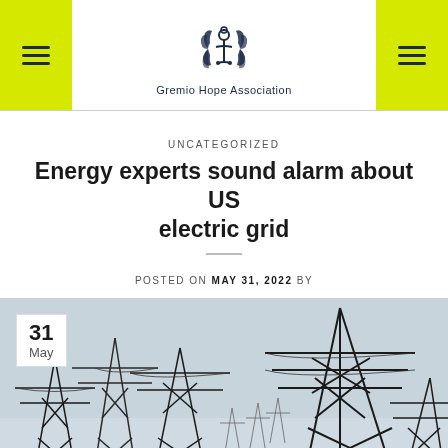Gremio Hope Association
UNCATEGORIZED
Energy experts sound alarm about US electric grid
POSTED ON MAY 31, 2022 BY
[Figure (photo): Photograph of electrical transmission towers and power lines against a light sky, with a date badge showing '31 May' in the upper left corner.]